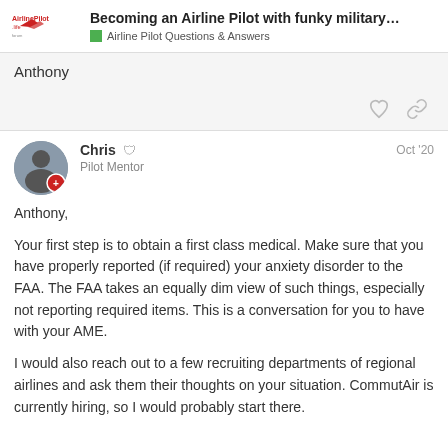Becoming an Airline Pilot with funky military…
Airline Pilot Questions & Answers
Anthony
Chris
Pilot Mentor
Oct '20
Anthony,

Your first step is to obtain a first class medical. Make sure that you have properly reported (if required) your anxiety disorder to the FAA. The FAA takes an equally dim view of such things, especially not reporting required items. This is a conversation for you to have with your AME.

I would also reach out to a few recruiting departments of regional airlines and ask them their thoughts on your situation. CommutAir is currently hiring, so I would probably start there.